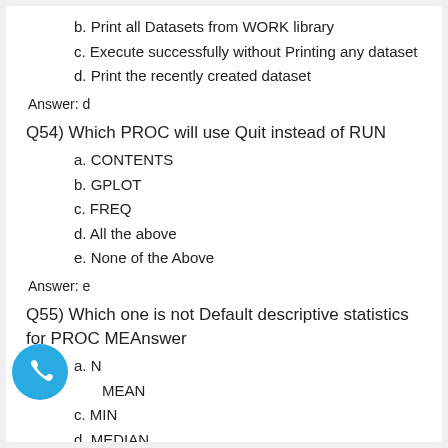b. Print all Datasets from WORK library
c. Execute successfully without Printing any dataset
d. Print the recently created dataset
Answer: d
Q54)  Which PROC will use Quit instead of RUN
a. CONTENTS
b. GPLOT
c. FREQ
d. All the above
e. None of the Above
Answer: e
Q55)  Which one is not Default descriptive statistics for PROC MEAnswer
a. N
b. MEAN
c. MIN
d. MEDIAN